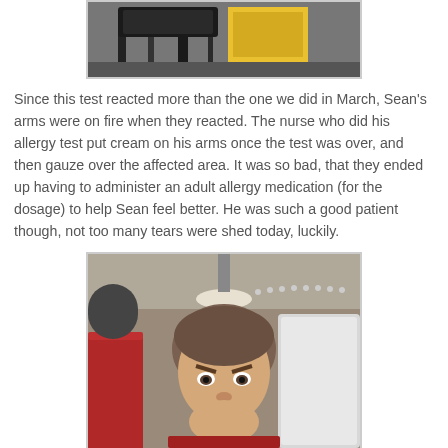[Figure (photo): Top portion of a photo showing chairs and yellow/black furniture in what appears to be a medical or waiting room setting]
Since this test reacted more than the one we did in March, Sean's arms were on fire when they reacted. The nurse who did his allergy test put cream on his arms once the test was over, and then gauze over the affected area. It was so bad, that they ended up having to administer an adult allergy medication (for the dosage) to help Sean feel better. He was such a good patient though, not too many tears were shed today, luckily.
[Figure (photo): Photo of a young boy with a grumpy/angry expression sitting in a red booth seat at what appears to be a diner or restaurant, with ceiling lights visible in the background]